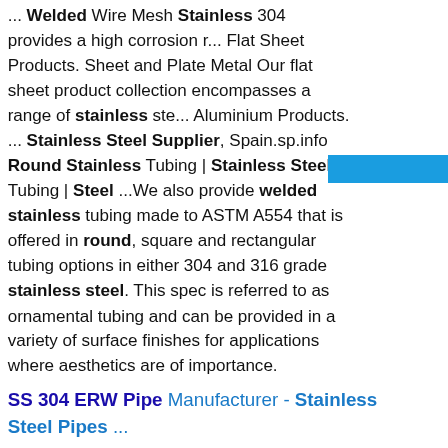... Welded Wire Mesh Stainless 304 provides a high corrosion r... Flat Sheet Products. Sheet and Plate Metal Our flat sheet product collection encompasses a range of stainless ste... Aluminium Products. ... Stainless Steel Supplier, Spain.sp.info Round Stainless Tubing | Stainless Steel Tubing | Steel ...We also provide welded stainless tubing made to ASTM A554 that is offered in round, square and rectangular tubing options in either 304 and 316 grade stainless steel. This spec is referred to as ornamental tubing and can be provided in a variety of surface finishes for applications where aesthetics are of importance.
[Figure (other): Blue chat button with Chinese characters 在线咨询 (online consultation)]
SS 304 ERW Pipe Manufacturer - Stainless Steel Pipes ...
[Figure (photo): Industrial warehouse or factory interior showing stacked metal sheets/plates with large windows and overhead lighting]
Description . SS 304 ERW Pipes & Tubes / Welded Pipes & Tubes. SS 304 ERW Pipe Maufacturer. We at